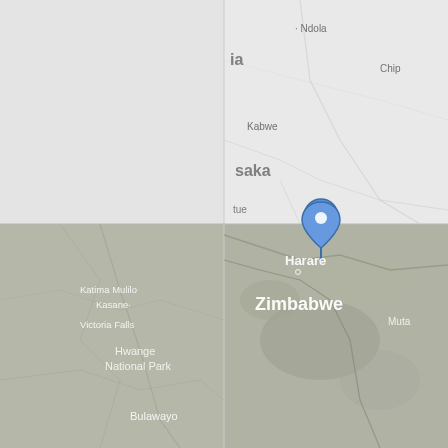[Figure (map): Google Maps screenshot showing a region of southern Africa including Zambia and Zimbabwe. The map is split into four quadrants with different zoom levels and map types (road map top-left/satellite-hybrid bottom). Visible place names include: Ndola, ia (Zambia partial), Chipata (partial), Kabwe, saka (Lusaka partial), tue, Livingstone (partial), Katima Mulilo, Kasane, Victoria Falls, Hwange National Park, Bulawayo, Zimbabwe, Harare, Muta (Mutare partial). A blue location pin marker is placed near the center of the map around the Lusaka/Livingstone area.]